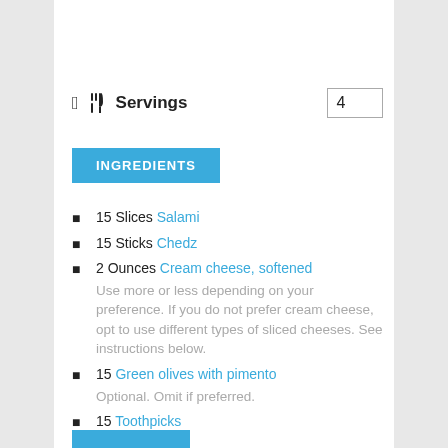Servings   4
INGREDIENTS
15 Slices Salami
15 Sticks Chedz
2 Ounces Cream cheese, softened. Use more or less depending on your preference. If you do not prefer cream cheese, opt to use different types of sliced cheeses. See instructions below.
15 Green olives with pimento. Optional. Omit if preferred.
15 Toothpicks